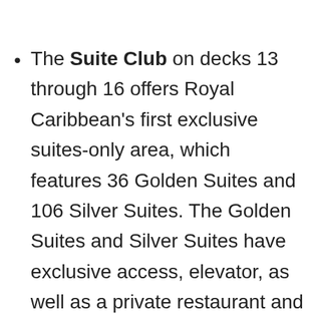The Suite Club on decks 13 through 16 offers Royal Caribbean's first exclusive suites-only area, which features 36 Golden Suites and 106 Silver Suites. The Golden Suites and Silver Suites have exclusive access, elevator, as well as a private restaurant and lounge. In addition to a range of amenities, Gold Suite guests may access The Balcony, a private outdoor space with the best views of the sea; and The Boutique, which can be reserved for private